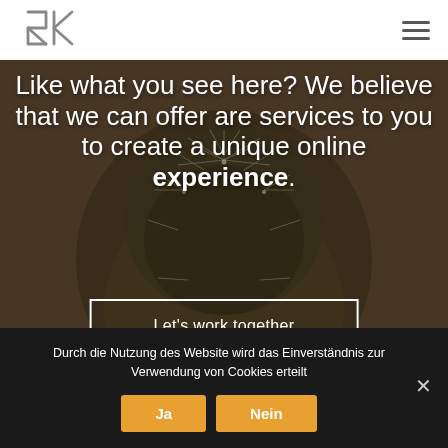[Figure (logo): 2K stylized logo mark in gray outline]
[Figure (illustration): Navigation hamburger menu icon (three horizontal lines)]
[Figure (photo): Dark cactus plant close-up background photo with warm brownish overlay]
Like what you see here? We believe that we can offer are services to you to create a unique online experience.
Let's work together
Durch die Nutzung des Website wird das Einverständnis zur Verwendung von Cookies erteilt
Ja
Nein